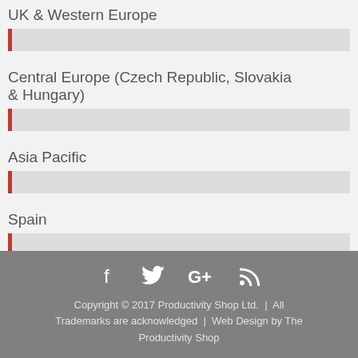UK & Western Europe
Central Europe (Czech Republic, Slovakia & Hungary)
Asia Pacific
Spain
Copyright © 2017 Productivity Shop Ltd. | All Trademarks are acknowledged | Web Design by The Productivity Shop